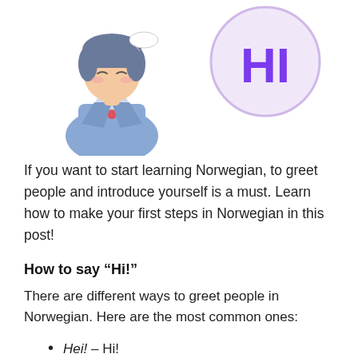[Figure (illustration): Anime-style character in blue jacket bowing, next to a purple circle with 'HI' text in large purple letters]
If you want to start learning Norwegian, to greet people and introduce yourself is a must. Learn how to make your first steps in Norwegian in this post!
How to say “Hi!”
There are different ways to greet people in Norwegian. Here are the most common ones:
Hei! – Hi!
Hallo! – Hello!